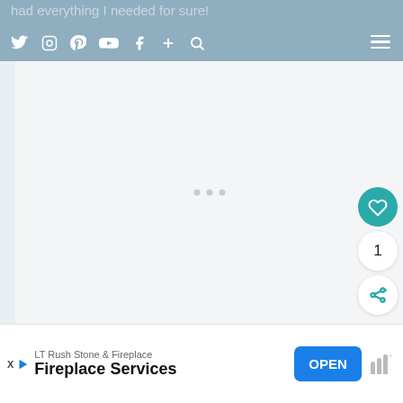had everything I needed for sure!
[Figure (screenshot): Social media icon bar with Twitter, Instagram, Pinterest, YouTube, Facebook, Plus, Search icons on teal/blue-grey header, with hamburger menu on right]
[Figure (screenshot): Main content area with light grey background and three loading dots in the center]
[Figure (infographic): Action buttons: teal heart button, white circle with number 1, white share button]
[Figure (screenshot): Advertisement banner: LT Rush Stone & Fireplace - Fireplace Services with OPEN button and Moat logo]